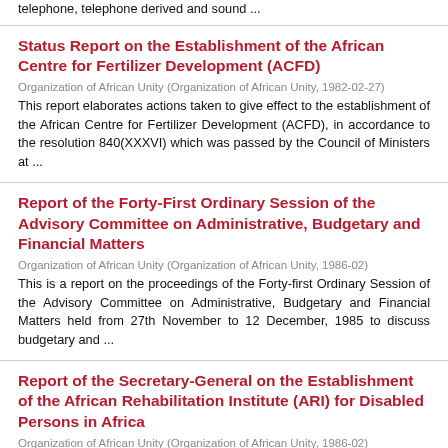telephone, telephone derived and sound ...
Status Report on the Establishment of the African Centre for Fertilizer Development (ACFD)
Organization of African Unity (Organization of African Unity, 1982-02-27)
This report elaborates actions taken to give effect to the establishment of the African Centre for Fertilizer Development (ACFD), in accordance to the resolution 840(XXXVI) which was passed by the Council of Ministers at ...
Report of the Forty-First Ordinary Session of the Advisory Committee on Administrative, Budgetary and Financial Matters
Organization of African Unity (Organization of African Unity, 1986-02)
This is a report on the proceedings of the Forty-first Ordinary Session of the Advisory Committee on Administrative, Budgetary and Financial Matters held from 27th November to 12 December, 1985 to discuss budgetary and ...
Report of the Secretary-General on the Establishment of the African Rehabilitation Institute (ARI) for Disabled Persons in Africa
Organization of African Unity (Organization of African Unity, 1986-02)
This report discusses the progress made on the establishment of the African Rehabilitation Institute (ARI) held where and the